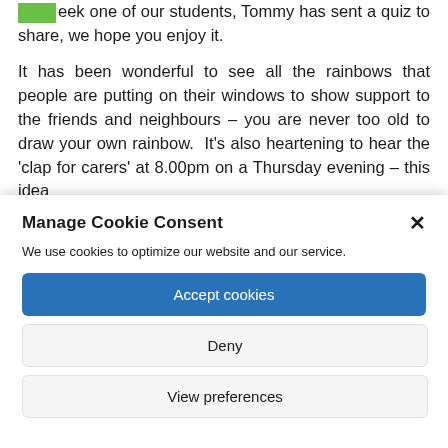eek one of our students, Tommy has sent a quiz to share, we hope you enjoy it.
It has been wonderful to see all the rainbows that people are putting on their windows to show support to the friends and neighbours – you are never too old to draw your own rainbow.  It's also heartening to hear the 'clap for carers' at 8.00pm on a Thursday evening – this idea
Manage Cookie Consent
We use cookies to optimize our website and our service.
Accept cookies
Deny
View preferences